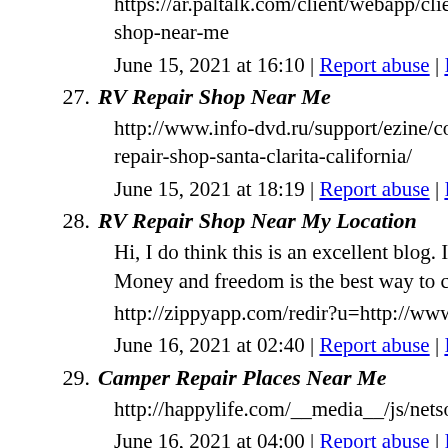https://ar.paltalk.com/client/webapp/client/External.wmt?url=h shop-near-me
June 15, 2021 at 16:10 | Report abuse | Reply
27. RV Repair Shop Near Me
http://www.info-dvd.ru/support/ezine/confirm-html.html?smar repair-shop-santa-clarita-california/
June 15, 2021 at 18:19 | Report abuse | Reply
28. RV Repair Shop Near My Location
Hi, I do think this is an excellent blog. I stumbledupon it 😉 I r Money and freedom is the best way to change, may you be rich
http://zippyapp.com/redir?u=http://www.ocrvcenter.com/rv-rep
June 16, 2021 at 02:40 | Report abuse | Reply
29. Camper Repair Places Near Me
http://happylife.com/__media__/js/netsoltrademark.php?d=htt
June 16, 2021 at 04:00 | Report abuse | Reply
30. RV Repair Near My Location
Your style is unique compared to other people I have read stuff